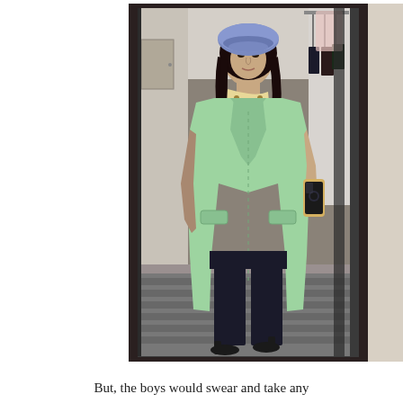[Figure (photo): A woman taking a mirror selfie in a fitting room or hotel room. She is wearing a light mint green long coat, a patterned blouse with a neck scarf, wide-leg dark navy/black trousers, and black sandal heels. She is wearing a blue beret hat and holding a gold iPhone to take the photo. The background shows a corridor/hallway with a striped carpet, a door, and clothing hanging on a rack visible in the mirror reflection.]
But, the boys would swear and take any